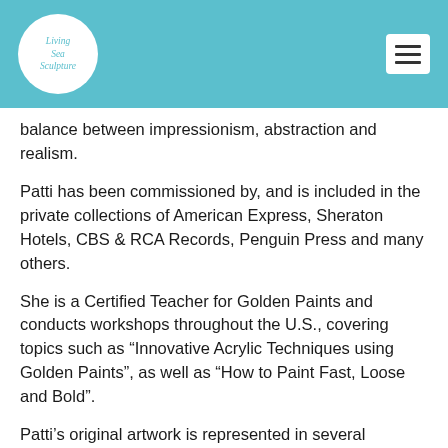Living Sea Sculpture
balance between impressionism, abstraction and realism.
Patti has been commissioned by, and is included in the private collections of American Express, Sheraton Hotels, CBS & RCA Records, Penguin Press and many others.
She is a Certified Teacher for Golden Paints and conducts workshops throughout the U.S., covering topics such as “Innovative Acrylic Techniques using Golden Paints”, as well as “How to Paint Fast, Loose and Bold”.
Patti’s original artwork is represented in several galleries throughout the US.
Published prints and posters can be found in retail chains worldwide. She is the author of 4 Books, “How to Paint Fast, Loose and Bold”, “Modern Acrylics”, “Color Theory”, and “Acrylics – Getting Started”, as well as 3 instructional painting DVD’s,